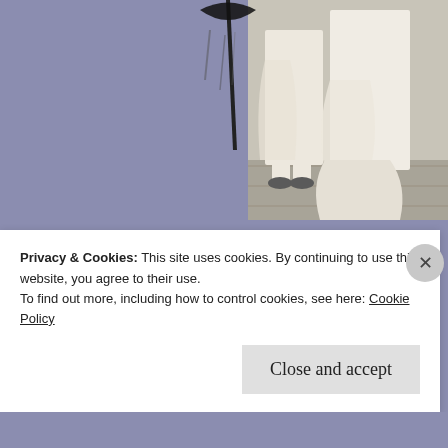[Figure (photo): Two people in white robes/garments standing on stone steps, partially cropped, with a dark umbrella visible on left side. Background is lavender/purple on left and the figures fill the right portion.]
My Tai Chi master taught me the peace, ca beauty of being filled with joy and purity. I started the course and he told me it was was channeling it the right way. After 4 mo happened to me: while I was making a figu around me disappeared suddenly and I do
Privacy & Cookies: This site uses cookies. By continuing to use this website, you agree to their use.
To find out more, including how to control cookies, see here: Cookie Policy
Close and accept